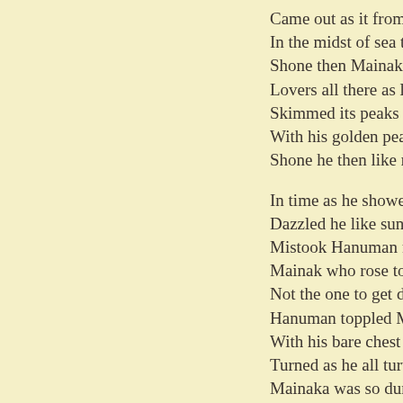Came out as it from thic
In the midst of sea that v
Shone then Mainak like
Lovers all there as lay la
Skimmed its peaks the m
With his golden peak Ma
Shone he then like rising

In time as he showed up
Dazzled he like suns in
Mistook Hanuman for hu
Mainak who rose to the
Not the one to get daunt
Hanuman toppled Maina
With his bare chest that
Turned as he all turtle th
Mainaka was so dumbfo
So as a way to woo Han
Assumed Mainak huma

It... ...O H...